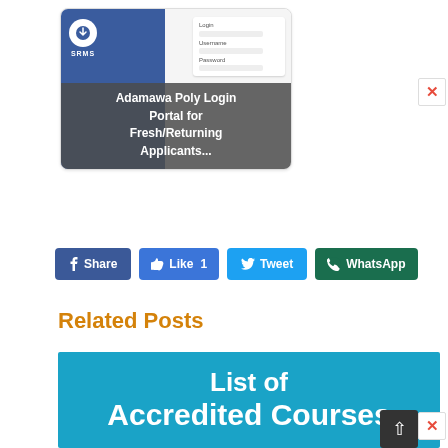[Figure (screenshot): Screenshot card showing SRMS login portal with text overlay: Adamawa Poly Login Portal for Fresh/Returning Applicants...]
[Figure (other): Social sharing buttons row: Share (Facebook), Like 1 (Facebook), Tweet (Twitter), WhatsApp]
Related Posts
[Figure (other): Blue banner image showing text: List of Accredited Courses (partially visible)]